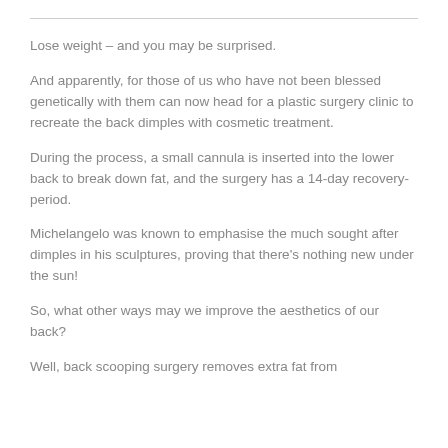Lose weight – and you may be surprised.
And apparently, for those of us who have not been blessed genetically with them can now head for a plastic surgery clinic to recreate the back dimples with cosmetic treatment.
During the process, a small cannula is inserted into the lower back to break down fat, and the surgery has a 14-day recovery-period.
Michelangelo was known to emphasise the much sought after dimples in his sculptures, proving that there's nothing new under the sun!
So, what other ways may we improve the aesthetics of our back?
Well, back scooping surgery removes extra fat from